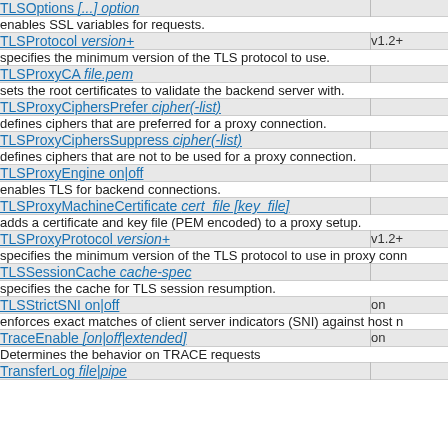TLSOptions [...] option — enables SSL variables for requests.
TLSProtocol version+ — v1.2+ — specifies the minimum version of the TLS protocol to use.
TLSProxyCA file.pem — sets the root certificates to validate the backend server with.
TLSProxyCiphersPrefer cipher(-list) — defines ciphers that are preferred for a proxy connection.
TLSProxyCiphersSuppress cipher(-list) — defines ciphers that are not to be used for a proxy connection.
TLSProxyEngine on|off — enables TLS for backend connections.
TLSProxyMachineCertificate cert_file [key_file] — adds a certificate and key file (PEM encoded) to a proxy setup.
TLSProxyProtocol version+ — v1.2+ — specifies the minimum version of the TLS protocol to use in proxy connections.
TLSSessionCache cache-spec — specifies the cache for TLS session resumption.
TLSStrictSNI on|off — on — enforces exact matches of client server indicators (SNI) against host names.
TraceEnable [on|off|extended] — on — Determines the behavior on TRACE requests
TransferLog file|pipe